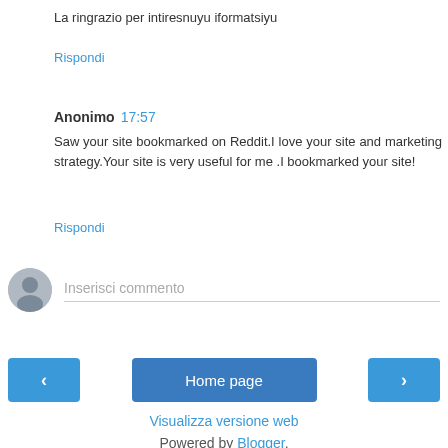La ringrazio per intiresnuyu iformatsiyu
Rispondi
Anonimo 17:57
Saw your site bookmarked on Reddit.I love your site and marketing strategy.Your site is very useful for me .I bookmarked your site!
Rispondi
Inserisci commento
Home page
Visualizza versione web
Powered by Blogger.